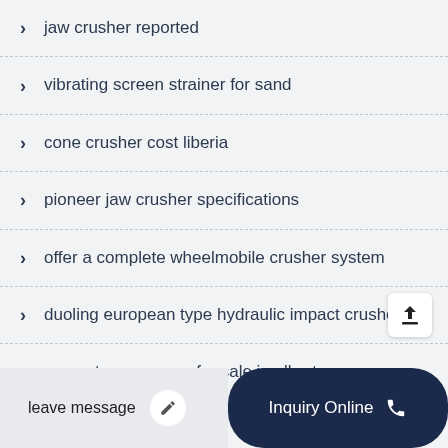jaw crusher reported
vibrating screen strainer for sand
cone crusher cost liberia
pioneer jaw crusher specifications
offer a complete wheelmobile crusher system
duoling european type hydraulic impact crusher
concrete conveyors for sale in alberta
leave message   Inquiry Online